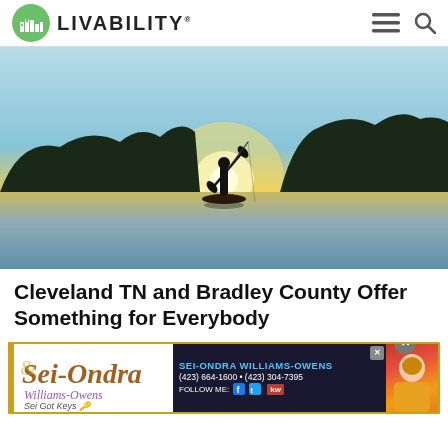LIVABILITY
[Figure (photo): Person standing on a paddleboard/kayak on a calm lake at sunset, silhouetted against an orange and blue sky, with forested hills in the background.]
Cleveland TN and Bradley County Offer Something for Everybody
[Figure (infographic): Advertisement for Sei-Ondra Williams-Owens real estate agent. Left side shows decorative cursive logo 'Sei-Ondra Williams-Owens, Sei Got Keys'. Right side shows name SEI-ONDRA WILLIAMS-OWENS, phone numbers (423) 664-1600 and (423) 304-7395, FOLLOW ME with Facebook and Twitter icons, and Keller Williams (kw) logo. Agent photo on far right.]